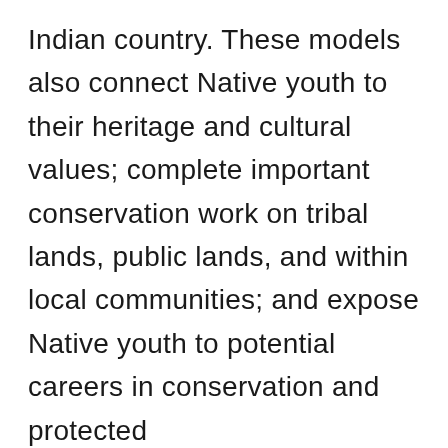Indian country. These models also connect Native youth to their heritage and cultural values; complete important conservation work on tribal lands, public lands, and within local communities; and expose Native youth to potential careers in conservation and protected